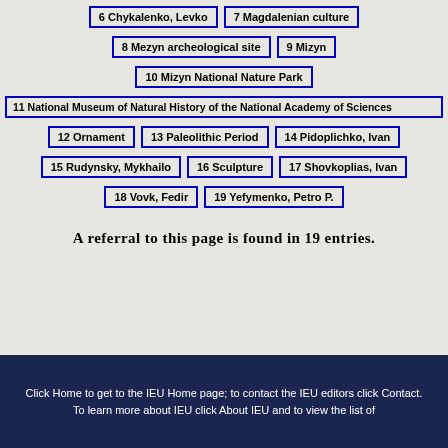6 Chykalenko, Levko
7 Magdalenian culture
8 Mezyn archeological site
9 Mizyn
10 Mizyn National Nature Park
11 National Museum of Natural History of the National Academy of Sciences
12 Ornament
13 Paleolithic Period
14 Pidoplichko, Ivan
15 Rudynsky, Mykhailo
16 Sculpture
17 Shovkoplias, Ivan
18 Vovk, Fedir
19 Yefymenko, Petro P.
A referral to this page is found in 19 entries.
Click Home to get to the IEU Home page; to contact the IEU editors click Contact.
To learn more about IEU click About IEU and to view the list of